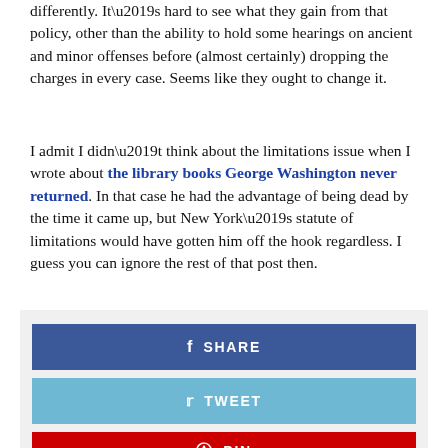differently. It’s hard to see what they gain from that policy, other than the ability to hold some hearings on ancient and minor offenses before (almost certainly) dropping the charges in every case. Seems like they ought to change it.
I admit I didn’t think about the limitations issue when I wrote about the library books George Washington never returned. In that case he had the advantage of being dead by the time it came up, but New York’s statute of limitations would have gotten him off the hook regardless. I guess you can ignore the rest of that post then.
[Figure (infographic): Social share buttons: Facebook SHARE (blue), Twitter TWEET (light blue), Pinterest PIN (red, partially visible)]